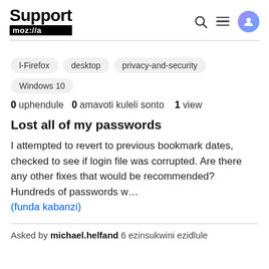Support mozilla
l-Firefox
desktop
privacy-and-security
Windows 10
0 uphendule   0 amavoti kuleli sonto   1 view
Lost all of my passwords
I attempted to revert to previous bookmark dates, checked to see if login file was corrupted. Are there any other fixes that would be recommended? Hundreds of passwords w…
(funda kabanzi)
Asked by michael.helfand 6 ezinsukwini ezidlule